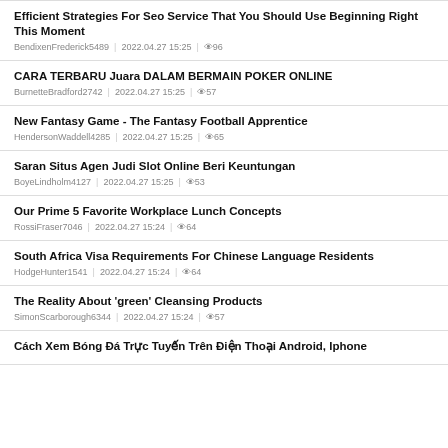Efficient Strategies For Seo Service That You Should Use Beginning Right This Moment
BendixenFrederick5489 | 2022.04.27 15:25 | 👁96
CARA TERBARU Juara DALAM BERMAIN POKER ONLINE
BurnetteBradford2742 | 2022.04.27 15:25 | 👁57
New Fantasy Game - The Fantasy Football Apprentice
HendersonWaddell4285 | 2022.04.27 15:25 | 👁65
Saran Situs Agen Judi Slot Online Beri Keuntungan
BoyeLindholm4127 | 2022.04.27 15:25 | 👁53
Our Prime 5 Favorite Workplace Lunch Concepts
RossiFraser7046 | 2022.04.27 15:24 | 👁64
South Africa Visa Requirements For Chinese Language Residents
HodgeHunter1541 | 2022.04.27 15:24 | 👁64
The Reality About 'green' Cleansing Products
SimonScarborough6344 | 2022.04.27 15:24 | 👁57
Cách Xem Bóng Đá Trực Tuyến Trên Điện Thoại Android, Iphone